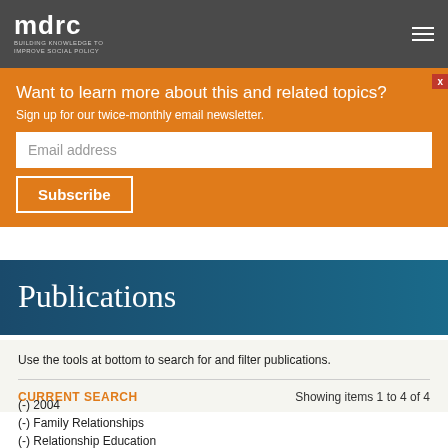mdrc BUILDING KNOWLEDGE TO IMPROVE SOCIAL POLICY
Want to learn more about this and related topics? Sign up for our twice-monthly email newsletter.
Email address
Subscribe
Publications
Use the tools at bottom to search for and filter publications.
CURRENT SEARCH
Showing items 1 to 4 of 4
(-) 2004
(-) Family Relationships
(-) Relationship Education